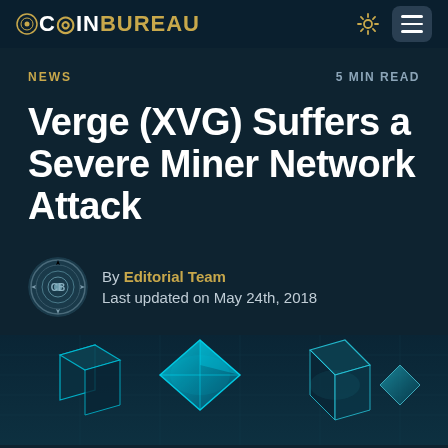COINBUREAU
NEWS   5 MIN READ
Verge (XVG) Suffers a Severe Miner Network Attack
By Editorial Team
Last updated on May 24th, 2018
[Figure (illustration): Dark teal background with glowing 3D geometric diamond/crystal shapes in teal and cyan colors, suggesting a blockchain/crypto network visual]